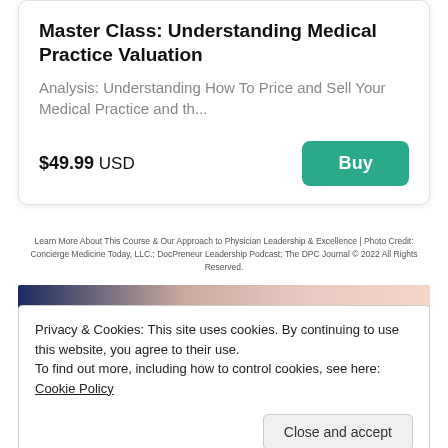Master Class: Understanding Medical Practice Valuation
Analysis: Understanding How To Price and Sell Your Medical Practice and th...
$49.99 USD
Buy
Learn More About This Course & Our Approach to Physician Leadership & Excellence | Photo Credit: Concierge Medicine Today, LLC.; DocPreneur Leadership Podcast; The DPC Journal © 2022 All Rights Reserved.
[Figure (photo): Partial image strip showing a photo, dark blue and skin tone colors visible]
Privacy & Cookies: This site uses cookies. By continuing to use this website, you agree to their use.
To find out more, including how to control cookies, see here: Cookie Policy
Close and accept